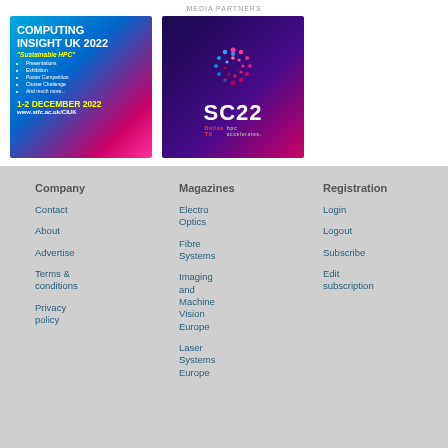[Figure (illustration): Computing Insight UK 2022 advertisement banner. Blue and pink gradient background. Title: COMPUTING INSIGHT UK 2022. Subtitle: Sustainable HPC. Bullets: Presentations, Exhibition, Poster Competition, Cluster Challenge, And much more. Date: 1-2 DECEMBER 2022. URL: www.stfc.ac.uk/CIUK]
[Figure (logo): SC22 conference logo. Dark purple/blue gradient background with colorful spiral design (pink/blue dots). Large white text SC22. Below: Dallas TX hpc accelerates.]
Company
Contact
About
Advertise
Terms & conditions
Privacy policy
Magazines
Electro Optics
Fibre Systems
Imaging and Machine Vision Europe
Laser Systems Europe
Registration
Login
Logout
Subscribe
Edit subscription